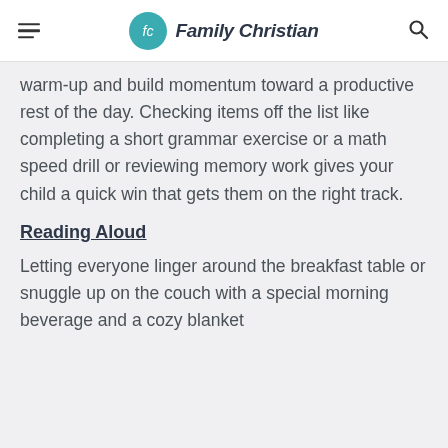Family Christian
warm-up and build momentum toward a productive rest of the day. Checking items off the list like completing a short grammar exercise or a math speed drill or reviewing memory work gives your child a quick win that gets them on the right track.
Reading Aloud
Letting everyone linger around the breakfast table or snuggle up on the couch with a special morning beverage and a cozy blanket